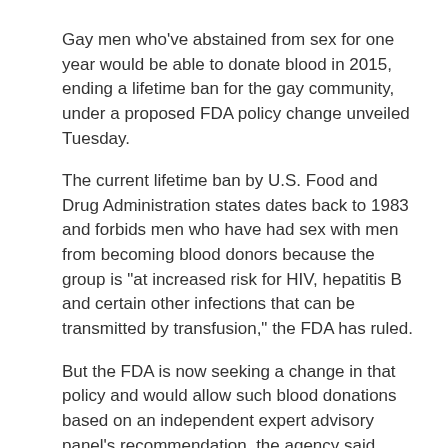Gay men who've abstained from sex for one year would be able to donate blood in 2015, ending a lifetime ban for the gay community, under a proposed FDA policy change unveiled Tuesday.
The current lifetime ban by U.S. Food and Drug Administration states dates back to 1983 and forbids men who have had sex with men from becoming blood donors because the group is "at increased risk for HIV, hepatitis B and certain other infections that can be transmitted by transfusion," the FDA has ruled.
But the FDA is now seeking a change in that policy and would allow such blood donations based on an independent expert advisory panel's recommendation, the agency said.
The proposed change would align the one-year deferral period "with that of other men and women at increased risk for HIV infection," the FDA said.
The agency will be gathering public comments on the proposed change.
"We encourage all stakeholders to take this opportunity to provide